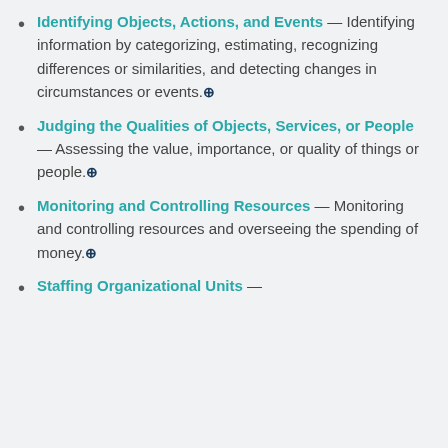Identifying Objects, Actions, and Events — Identifying information by categorizing, estimating, recognizing differences or similarities, and detecting changes in circumstances or events.
Judging the Qualities of Objects, Services, or People — Assessing the value, importance, or quality of things or people.
Monitoring and Controlling Resources — Monitoring and controlling resources and overseeing the spending of money.
Staffing Organizational Units —